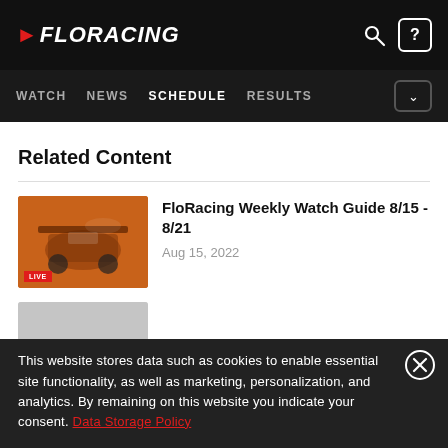FloRacing — WATCH | NEWS | SCHEDULE | RESULTS
Related Content
[Figure (screenshot): FloRacing article thumbnail showing sprint car racing image with LIVE badge]
FloRacing Weekly Watch Guide 8/15 - 8/21
Aug 15, 2022
This website stores data such as cookies to enable essential site functionality, as well as marketing, personalization, and analytics. By remaining on this website you indicate your consent. Data Storage Policy